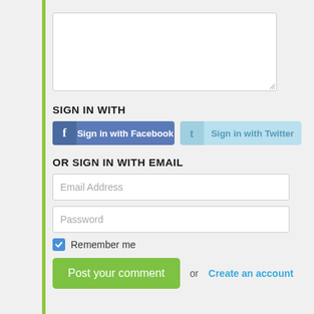[Figure (screenshot): Comment textarea input box]
SIGN IN WITH
[Figure (screenshot): Sign in with Facebook button and Sign in with Twitter button side by side]
OR SIGN IN WITH EMAIL
Email Address
Password
Remember me
Post your comment or Create an account